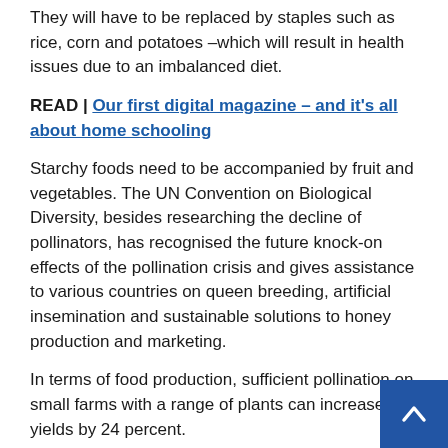They will have to be replaced by staples such as rice, corn and potatoes –which will result in health issues due to an imbalanced diet.
READ | Our first digital magazine – and it's all about home schooling
Starchy foods need to be accompanied by fruit and vegetables. The UN Convention on Biological Diversity, besides researching the decline of pollinators, has recognised the future knock-on effects of the pollination crisis and gives assistance to various countries on queen breeding, artificial insemination and sustainable solutions to honey production and marketing.
In terms of food production, sufficient pollination on small farms with a range of plants can increase yields by 24 percent.